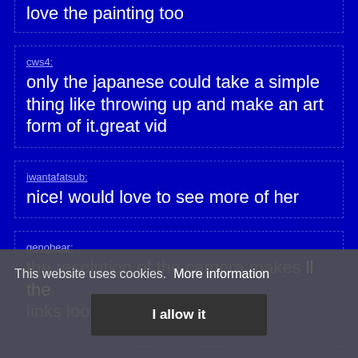love the painting too
cws4:
only the japanese could take a simple thing like throwing up and make an art form of it.great vid
iwantafatsub:
nice! would love to see more of her
genobear:
the resolution of the camera makes all the links look short and stacky.
pico123:
it's no accident that she chose the black
This website uses cookies. More information
I allow it